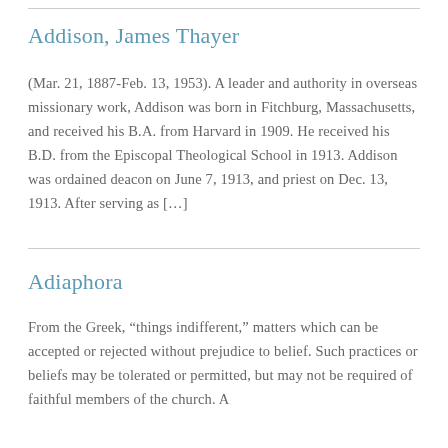Addison, James Thayer
(Mar. 21, 1887-Feb. 13, 1953). A leader and authority in overseas missionary work, Addison was born in Fitchburg, Massachusetts, and received his B.A. from Harvard in 1909. He received his B.D. from the Episcopal Theological School in 1913. Addison was ordained deacon on June 7, 1913, and priest on Dec. 13, 1913. After serving as […]
Adiaphora
From the Greek, “things indifferent,” matters which can be accepted or rejected without prejudice to belief. Such practices or beliefs may be tolerated or permitted, but may not be required of faithful members of the church. A